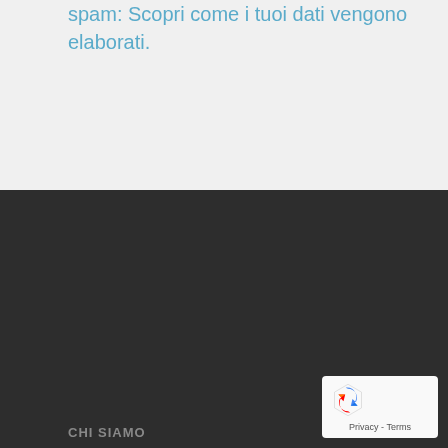spam: Scopri come i tuoi dati vengono elaborati.
CHI SIAMO
View-tech realizza in un laboratorio innovativo le migliori soluzioni espositive per punti vendita, eventi, uffici, fiere, musei, bar e ristoranti. Gli espositori in plexiglass e in molti altri materiali, vengono creati con creatività e